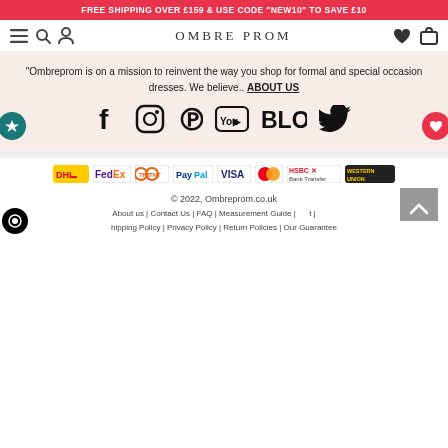FREE SHIPPING OVER £159 & USE CODE "NEW10" TO SAVE £10
[Figure (screenshot): Navigation bar with hamburger menu, search, user icons on left; OMBRE PROM logo in center; heart and shopping bag icons on right]
"Ombreprom is on a mission to reinvent the way you shop for formal and special occasion dresses. We believe.. ABOUT US
[Figure (infographic): Social media icons row: Facebook, Instagram, Pinterest, YouTube, BLOG, Twitter]
[Figure (infographic): Payment/delivery logos row: DHL, FedEx, TNT, PayPal, Visa, Mastercard, HSBC Bank Transfer, Western Union]
© 2022, Ombreprom.co.uk
About us | Contact Us | FAQ | Measurement Guide | ... | Shipping Policy | Privacy Policy | Return Policies | Our Guarantee